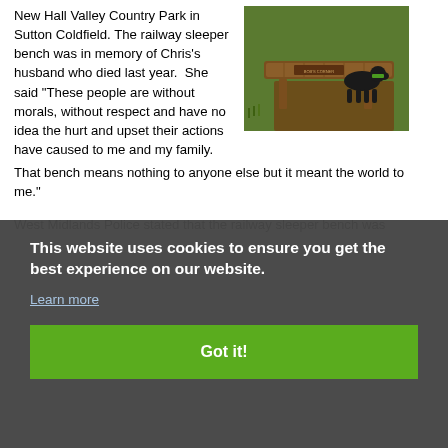New Hall Valley Country Park in Sutton Coldfield. The railway sleeper bench was in memory of Chris's husband who died last year.  She said "These people are without morals, without respect and have no idea the hurt and upset their actions have caused to me and my family. That bench means nothing to anyone else but it meant the world to me."
[Figure (photo): Photo of a wooden railway sleeper bench in a park with a black dog sniffing near it. A small plaque is visible on the bench.]
West Midlands Police stated that the railway sleeper bench was ... n
This website uses cookies to ensure you get the best experience on our website.
Learn more
Got it!